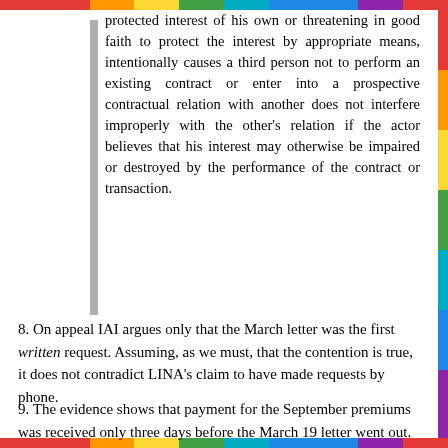protected interest of his own or threatening in good faith to protect the interest by appropriate means, intentionally causes a third person not to perform an existing contract or enter into a prospective contractual relation with another does not interfere improperly with the other's relation if the actor believes that his interest may otherwise be impaired or destroyed by the performance of the contract or transaction.
8. On appeal IAI argues only that the March letter was the first written request. Assuming, as we must, that the contention is true, it does not contradict LINA's claim to have made requests by phone.
9. The evidence shows that payment for the September premiums was received only three days before the March 19 letter went out.